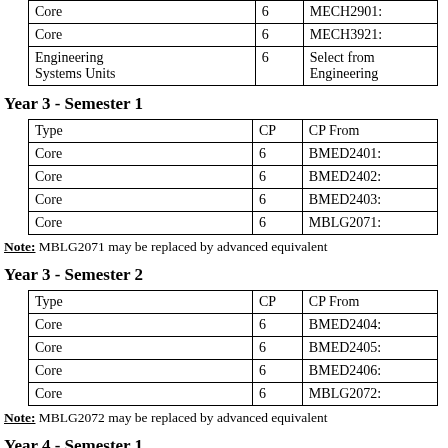| Type | CP | CP From |
| --- | --- | --- |
| Core | 6 | MECH2901: |
| Core | 6 | MECH3921: |
| Engineering Systems Units | 6 | Select from Engineering |
Year 3 - Semester 1
| Type | CP | CP From |
| --- | --- | --- |
| Core | 6 | BMED2401: |
| Core | 6 | BMED2402: |
| Core | 6 | BMED2403: |
| Core | 6 | MBLG2071: |
Note: MBLG2071 may be replaced by advanced equivalent
Year 3 - Semester 2
| Type | CP | CP From |
| --- | --- | --- |
| Core | 6 | BMED2404: |
| Core | 6 | BMED2405: |
| Core | 6 | BMED2406: |
| Core | 6 | MBLG2072: |
Note: MBLG2072 may be replaced by advanced equivalent
Year 4 - Semester 1